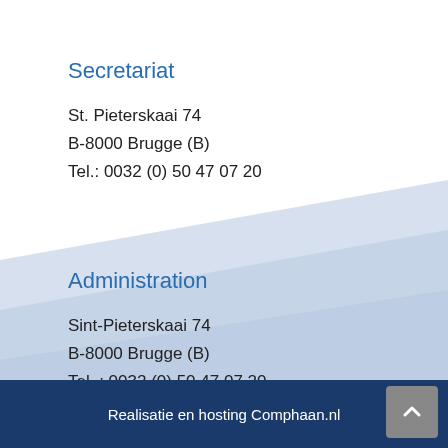Secretariat
St. Pieterskaai 74
B-8000 Brugge (B)
Tel.: 0032 (0) 50 47 07 20
Administration
Sint-Pieterskaai 74
B-8000 Brugge (B)
Tel. : 0032 (0) 50 47 07 20
Fax : 0032 (0) 50 33 53 37
Realisatie en hosting Comphaan.nl